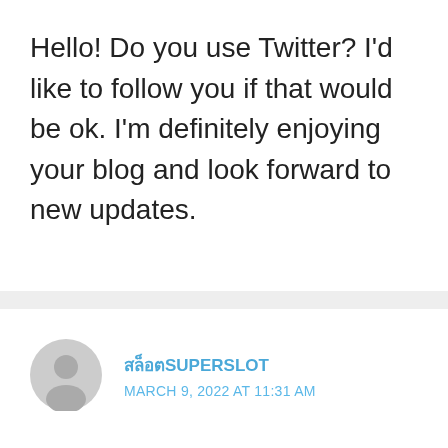Hello! Do you use Twitter? I'd like to follow you if that would be ok. I'm definitely enjoying your blog and look forward to new updates.
สล็อตSUPERSLOT
MARCH 9, 2022 AT 11:31 AM
Very good blog post.Really